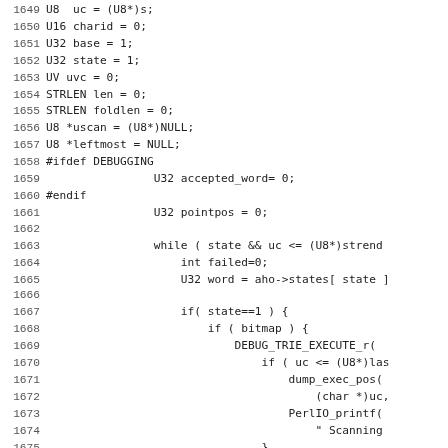Source code listing, lines 1649-1681, C/Perl source code with variable declarations and a while loop with nested conditionals